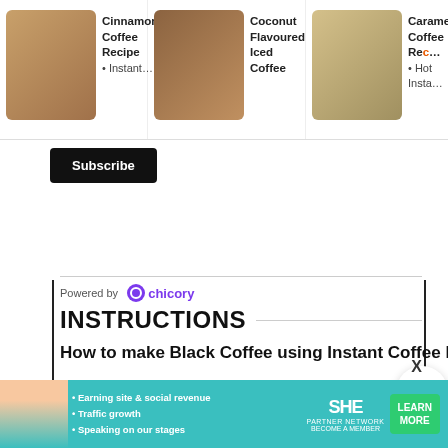[Figure (photo): Recipe cards strip showing Cinnamon Coffee Recipe, Coconut Flavoured Iced Coffee, and Caramel Coffee Recipe with thumbnail images]
Cinnamon Coffee Recipe • Instant…
Coconut Flavoured Iced Coffee
Caramel Coffee Recipe • Hot Insta…
Subscribe
Powered by chicory
INSTRUCTIONS
How to make Black Coffee using Instant Coffee Powder
Bring water to a boil.
Take coffee and sugar in a cup, add little hot water and mix well.
Now add more water and mix well.
[Figure (screenshot): Bottom advertisement banner for SHE Partner Network with text: Earning site & social revenue, Traffic growth, Speaking on our stages. Learn More button.]